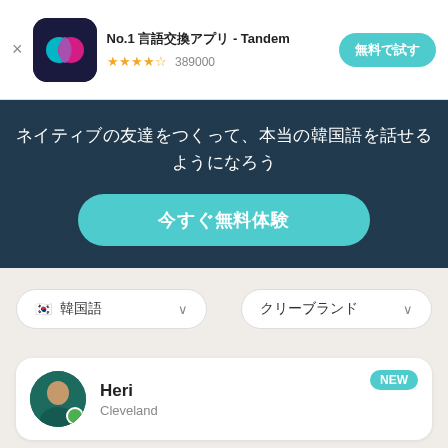[Figure (screenshot): Tandem app advertisement banner with logo icon, title 'No.1 言語交換アプリ - Tandem', 4.5 star rating, 389000 reviews, and '無料で試す' CTA button]
[Figure (photo): Hero banner with dark overlay on mountain/nature background showing Japanese text and teal CTA button]
ネイティブの友達をつくって、本当の韓国語を話せるようになろう
今すぐ無料体験
韓国語
クリーブランド
NEW
Heri
Cleveland